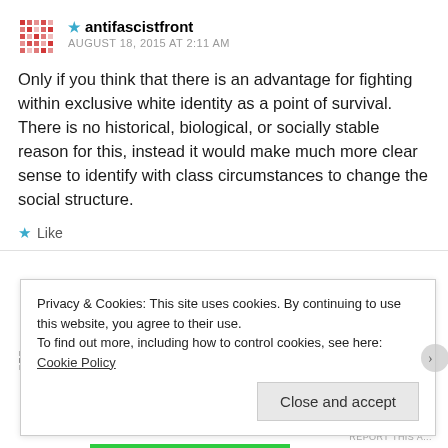★ antifascistfront
AUGUST 18, 2015 AT 2:11 AM
Only if you think that there is an advantage for fighting within exclusive white identity as a point of survival. There is no historical, biological, or socially stable reason for this, instead it would make much more clear sense to identify with class circumstances to change the social structure.
★ Like
Privacy & Cookies: This site uses cookies. By continuing to use this website, you agree to their use.
To find out more, including how to control cookies, see here: Cookie Policy
Close and accept